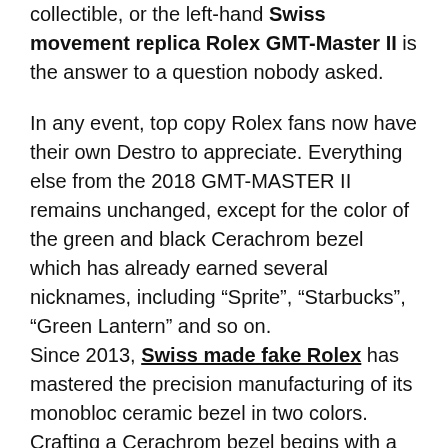collectible, or the left-hand Swiss movement replica Rolex GMT-Master II is the answer to a question nobody asked.
In any event, top copy Rolex fans now have their own Destro to appreciate. Everything else from the 2018 GMT-MASTER II remains unchanged, except for the color of the green and black Cerachrom bezel which has already earned several nicknames, including “Sprite”, “Starbucks”, “Green Lantern” and so on.
Since 2013, Swiss made fake Rolex has mastered the precision manufacturing of its monobloc ceramic bezel in two colors. Crafting a Cerachrom bezel begins with a ceramic powder mix with added pigments and a binding agent. The resulting paste is shaped into a bezel blank by high-pressure moulding. A first stage heat treatment eliminates the binding agent. Next, the substrate is impregnated with a metalised chemical solution. The insert is then superheated to 1600° to fuse the particles